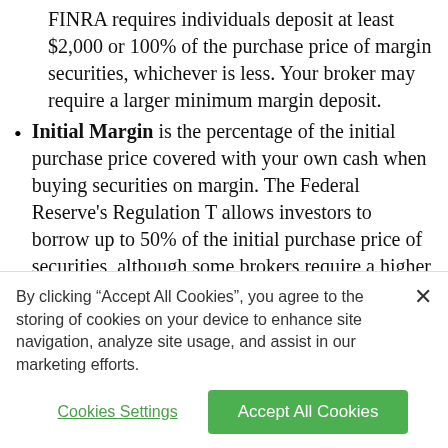FINRA requires individuals deposit at least $2,000 or 100% of the purchase price of margin securities, whichever is less. Your broker may require a larger minimum margin deposit.
Initial Margin is the percentage of the initial purchase price covered with your own cash when buying securities on margin. The Federal Reserve's Regulation T allows investors to borrow up to 50% of the initial purchase price of securities, although some brokers require a higher initial margin.
Maintenance Margin is the percentage of your
By clicking “Accept All Cookies”, you agree to the storing of cookies on your device to enhance site navigation, analyze site usage, and assist in our marketing efforts.